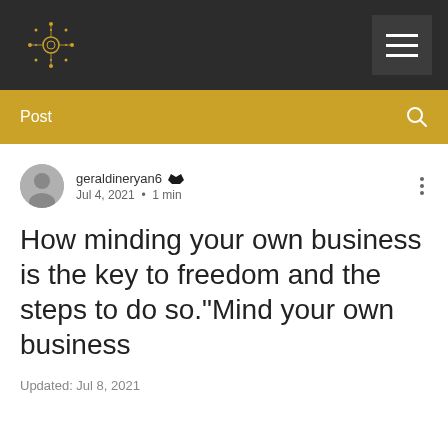[Figure (screenshot): Website navigation bar with dark background, sun/mandala logo on left, and hamburger menu button on right]
Post
geraldineryan6 · Jul 4, 2021 · 1 min
How minding your own business is the key to freedom and the steps to do so."Mind your own business
Updated: Jul 8, 2021